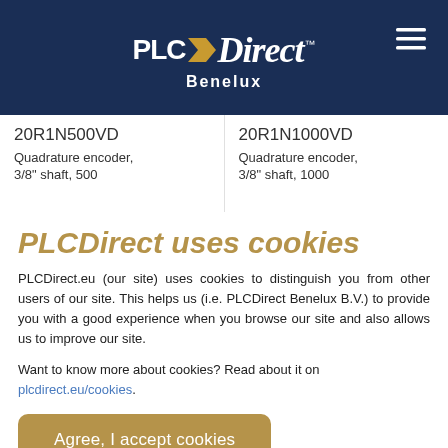[Figure (logo): PLCDirect Benelux logo on dark navy blue header background with hamburger menu icon]
20R1N500VD
Quadrature encoder,
20R1N1000VD
Quadrature encoder,
PLCDirect uses cookies
PLCDirect.eu (our site) uses cookies to distinguish you from other users of our site. This helps us (i.e. PLCDirect Benelux B.V.) to provide you with a good experience when you browse our site and also allows us to improve our site.
Want to know more about cookies? Read about it on plcdirect.eu/cookies.
Agree, I accept cookies